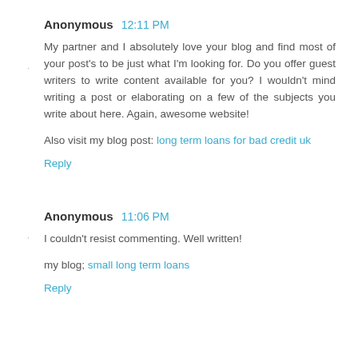Anonymous 12:11 PM
My partner and I absolutely love your blog and find most of your post's to be just what I'm looking for. Do you offer guest writers to write content available for you? I wouldn't mind writing a post or elaborating on a few of the subjects you write about here. Again, awesome website!
Also visit my blog post: long term loans for bad credit uk
Reply
Anonymous 11:06 PM
I couldn't resist commenting. Well written!
my blog; small long term loans
Reply